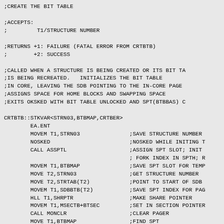;CREATE THE BIT TABLE
;ACCEPTS:
;         T1/STRUCTURE NUMBER
;RETURNS +1: FAILURE (FATAL ERROR FROM CRTBTB)
;        +2: SUCCESS
;CALLED WHEN A STRUCTURE IS BEING CREATED OR ITS BIT TA
;IS BEING RECREATED.   INITIALIZES THE BIT TABLE
;IN CORE, LEAVING THE SDB POINTING TO THE IN-CORE PAGE
;ASSIGNS SPACE FOR HOME BLOCKS AND SWAPPING SPACE
;EXITS OKSKED WITH BIT TABLE UNLOCKED AND SPT(BTBBAS) C
CRTBTB::STKVAR<STRN03,BTBMAP,CRTBER>
        EA.ENT
        MOVEM T1,STRN03               ;SAVE STRUCTURE NUMBER
        NOSKED                        ;NOSKED WHILE INITING T
        CALL ASSPTL                   ;ASSIGN SPT SLOT; INIT
                                      ; FORK INDEX IN SPTH; R
        MOVEM T1,BTBMAP               ;SAVE SPT SLOT FOR TEMP
        MOVE T2,STRN03                ;GET STRUCTURE NUMBER
        MOVE T2,STRTAB(T2)            ;POINT TO START OF SDB
        MOVEM T1,SDBBTB(T2)           ;SAVE SPT INDEX FOR PAG
        HLL T1,SHRPTR                 ;MAKE SHARE POINTER
        MOVEM T1,MSECTB+BTSEC         ;SET IN SECTION POINTER
        CALL MONCLR                   ;CLEAR PAGER
        MOVE T1,BTBMAP                ;FIND SPT
        CALL SWPIN1                   ;GET A CORE PAGE, MAKE
                                      ; TO THE PAGE, LOCK IT
        MOVE T1,BTBMAP                ;T1/SPT INDEX FOR PAGE